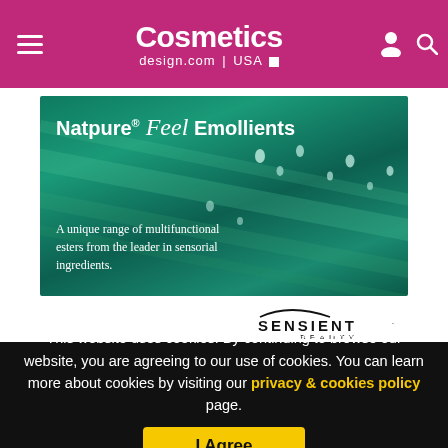Cosmetics design.com | USA
[Figure (photo): Natpure Feel Emollients advertisement banner by Sensient Beauty. Green leaf with water droplets background. Text: 'Natpure® Feel Emollients — A unique range of multifunctional esters from the leader in sensorial ingredients.' Sensient Beauty logo below.]
This website uses cookies. By continuing to browse our website, you are agreeing to our use of cookies. You can learn more about cookies by visiting our privacy & cookies policy page.